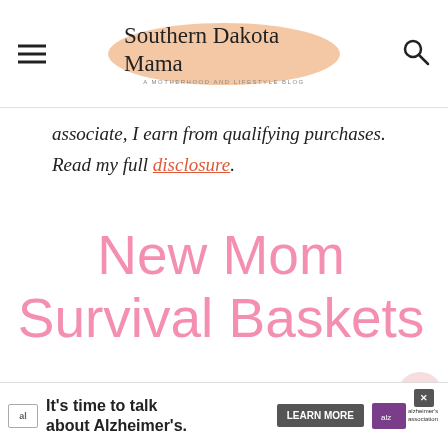Southern Dakota Mama — A Motherhood and Lifestyle Blog
associate, I earn from qualifying purchases. Read my full disclosure.
New Mom Survival Baskets
[Figure (photo): Baby items laid out on a brown carpet including pink clothing, onesie, diapers, and baby products]
WHAT'S NEXT → Everything You Need To...
[Figure (screenshot): Advertisement banner: It's time to talk about Alzheimer's. Learn More. Alzheimer's Association.]